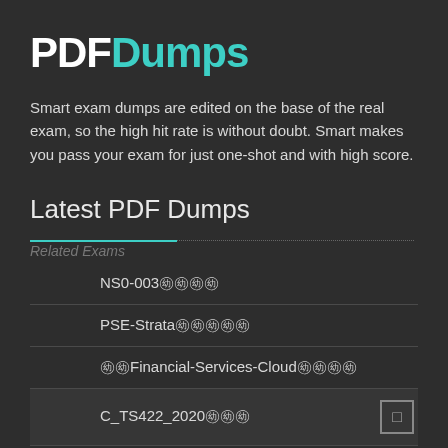PDFDumps
Smart exam dumps are edited on the base of the real exam, so the high hit rate is without doubt. Smart makes you pass your exam for just one-shot and with high score.
Latest PDF Dumps
Related Exams
NS0-003㊅㊅㊅㊅
PSE-Strata㊅㊅㊅㊅㊅
㊅㊅Financial-Services-Cloud㊅㊅㊅㊅
C_TS422_2020㊅㊅㊅